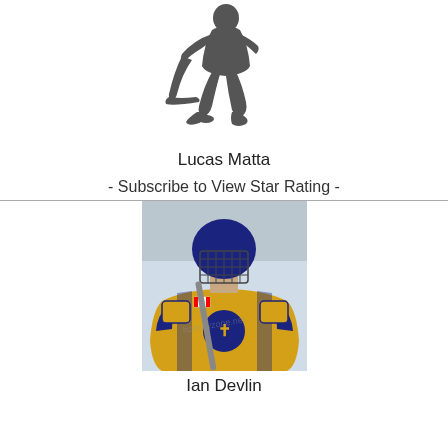[Figure (illustration): Silhouette of a hockey player in a skating/shooting pose with a puck, dark gray color on white background]
Lucas Matta
- Subscribe to View Star Rating -
[Figure (photo): Photo of a young hockey player wearing a navy blue and gold jersey with a cross logo, holding a hockey stick, wearing a dark helmet with cage, on an ice rink. A Canadian flag patch is visible on the jersey. Watermark text partially visible.]
Ian Devlin